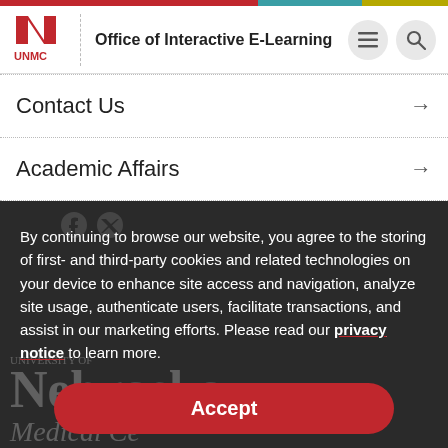UNMC — Office of Interactive E-Learning
Contact Us →
Academic Affairs →
By continuing to browse our website, you agree to the storing of first- and third-party cookies and related technologies on your device to enhance site access and navigation, analyze site usage, authenticate users, facilitate transactions, and assist in our marketing efforts. Please read our privacy notice to learn more.
Accept